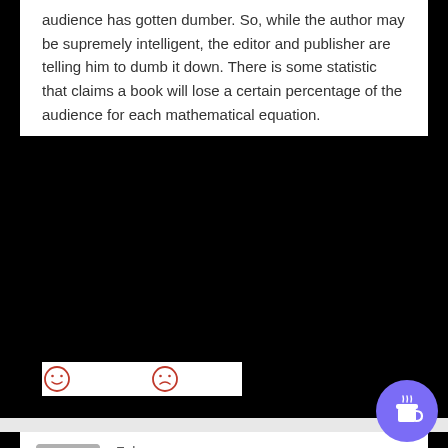audience has gotten dumber. So, while the author may be supremely intelligent, the editor and publisher are telling him to dumb it down. There is some statistic that claims a book will lose a certain percentage of the audience for each mathematical equation.
[Figure (illustration): Two emoticon reaction icons: a neutral/smiling face and a frowning/sad face, both outlined in red.]
Falcone
on September 29, 2020 at 2:35 pm
said:
Because there wasn't as much money. So if you had aspirations, you really had to be kick ass to make a name for yourself, push and push and push yourself, but if you did